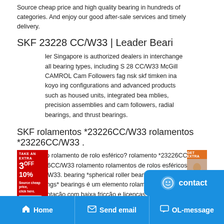Source cheap price and high quality bearing in hundreds of categories. And enjoy our good after-sale services and timely delivery.
SKF 23228 CC/W33 | Leader Beari
[Figure (illustration): Red advertisement banner on left with '3OFF 10%' text and orange advertisement banner on right with person image]
ler Singapore is authorized dealers in interchange all bearing types, including S 28 CC/W33 McGill CAMROL Cam Followers fag nsk skf timken ina koyo ing configurations and advanced products such as housed units, integrated bea mblies, precision assemblies and cam followers, radial bearings, and thrust bearings.
SKF rolamentos *23226CC/W33 rolamentos *23226CC/W33 .
1.O que é o rolamento de rolo esférico? rolamento *23226CC/W33 SKF *23226CC/W33 rolamento rolamentos de rolos esféricos *23226CC/W33. bearing *spherical roller bearings* SKF *spherical roller bearings* bearings é um elemento rolamento . olamento que permite a rotação com baixa fricção e licenças desalinhamento angular.
SKF 22318CCW33 SPHERICAL ROLLER BEARING |
[Figure (other): Blue contact button with smiley face icon]
Home   Send email   OL-message